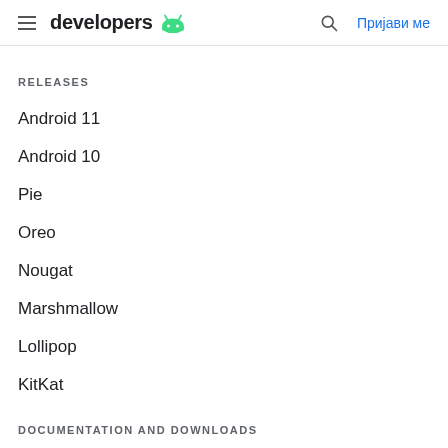developers | Prijavi me
RELEASES
Android 11
Android 10
Pie
Oreo
Nougat
Marshmallow
Lollipop
KitKat
DOCUMENTATION AND DOWNLOADS
Android Studio guide